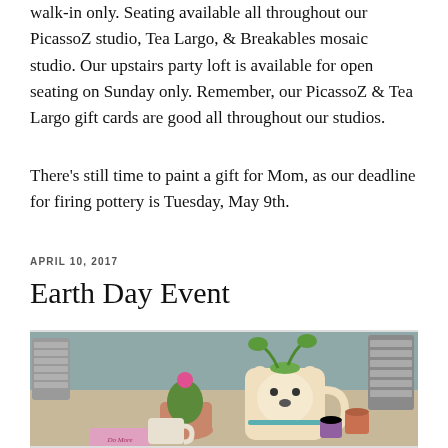walk-in only. Seating available all throughout our PicassoZ studio, Tea Largo, & Breakables mosaic studio. Our upstairs party loft is available for open seating on Sunday only. Remember, our PicassoZ & Tea Largo gift cards are good all throughout our studios.
There's still time to paint a gift for Mom, as our deadline for firing pottery is Tuesday, May 9th.
APRIL 10, 2017
Earth Day Event
[Figure (photo): Photo of various ceramic pots and mugs arranged on a surface, including a bear-shaped mug with a plant, a cactus in a pot, stacked metallic cups, and small terracotta pots. A sign reading 'Do More' is visible in the lower left.]